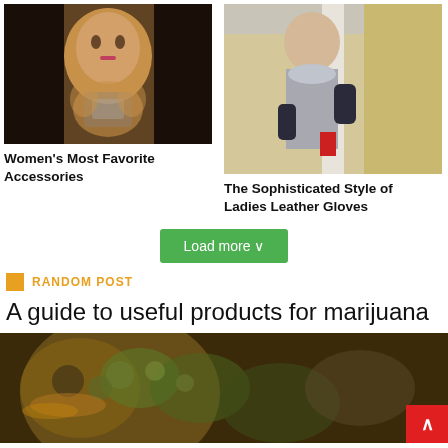[Figure (photo): Woman with jewelry accessories on black background]
Women's Most Favorite Accessories
[Figure (photo): Woman in grey coat wearing dark leather gloves outdoors]
The Sophisticated Style of Ladies Leather Gloves
Load more ∨
RANDOM POST
A guide to useful products for marijuana
[Figure (photo): Close-up of marijuana plant/buds in warm tones]